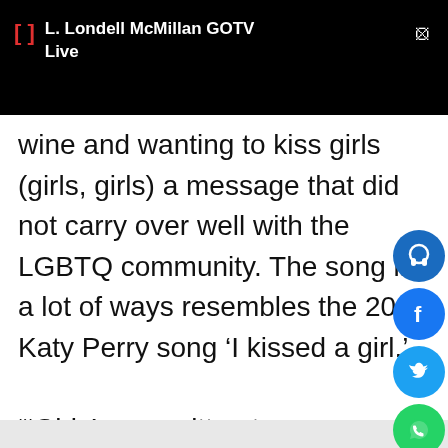L. Londell McMillan GOTV Live
wine and wanting to kiss girls (girls, girls) a message that did not carry over well with the LGBTQ community. The song in a lot of ways resembles the 2008 Katy Perry song ‘I kissed a girl.’
“‘Girls’ was written to represent my truth and is an accurate account of a very real and honest experience in my life,” Ora wrote